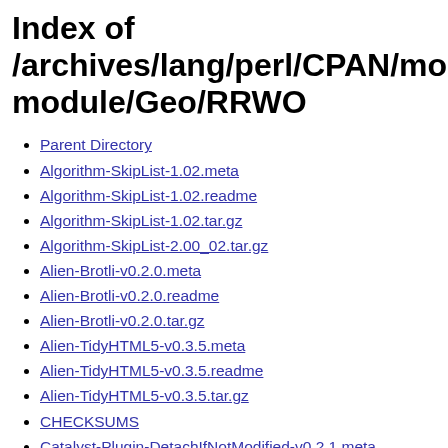Index of /archives/lang/perl/CPAN/module/Geo/RRWO
Parent Directory
Algorithm-SkipList-1.02.meta
Algorithm-SkipList-1.02.readme
Algorithm-SkipList-1.02.tar.gz
Algorithm-SkipList-2.00_02.tar.gz
Alien-Brotli-v0.2.0.meta
Alien-Brotli-v0.2.0.readme
Alien-Brotli-v0.2.0.tar.gz
Alien-TidyHTML5-v0.3.5.meta
Alien-TidyHTML5-v0.3.5.readme
Alien-TidyHTML5-v0.3.5.tar.gz
CHECKSUMS
Catalyst-Plugin-DetachIfNotModified-v0.2.1.meta
Catalyst-Plugin-DetachIfNotModified-v0.2.1.readme
Catalyst-Plugin-DetachIfNotModified-v0.2.1.tar.gz
Catalyst-Plugin-Statsd-v0.7.2.meta
Catalyst-Plugin-Statsd-v0.7.2.readme